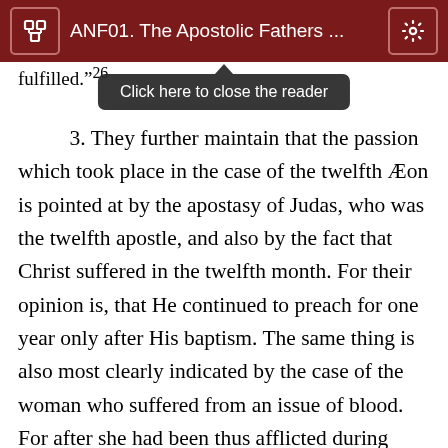ANF01. The Apostolic Fathers ...
fulfilled." 26
Click here to close the reader
3. They further maintain that the passion which took place in the case of the twelfth Æon is pointed at by the apostasy of Judas, who was the twelfth apostle, and also by the fact that Christ suffered in the twelfth month. For their opinion is, that He continued to preach for one year only after His baptism. The same thing is also most clearly indicated by the case of the woman who suffered from an issue of blood. For after she had been thus afflicted during twelve years, she was healed by the advent of the Saviour, when she had touched the border of His garment; and on this account the